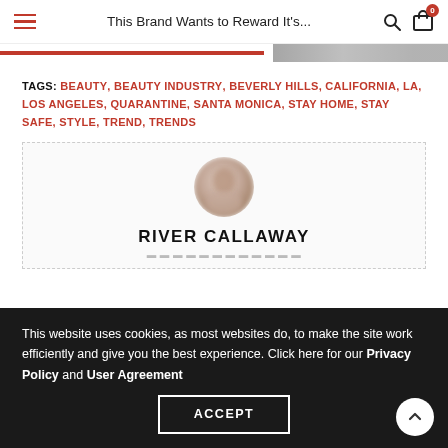This Brand Wants to Reward It's...
TAGS: BEAUTY, BEAUTY INDUSTRY, BEVERLY HILLS, CALIFORNIA, LA, LOS ANGELES, QUARANTINE, SANTA MONICA, STAY HOME, STAY SAFE, STYLE, TREND, TRENDS
[Figure (photo): Circular blurred avatar photo of River Callaway]
RIVER CALLAWAY
This website uses cookies, as most websites do, to make the site work efficiently and give you the best experience. Click here for our Privacy Policy and User Agreement